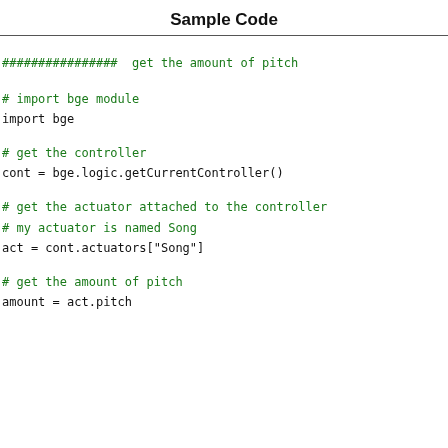Sample Code
################  get the amount of pitch
# import bge module
import bge
# get the controller
cont = bge.logic.getCurrentController()
# get the actuator attached to the controller
# my actuator is named Song
act = cont.actuators["Song"]
# get the amount of pitch
amount = act.pitch